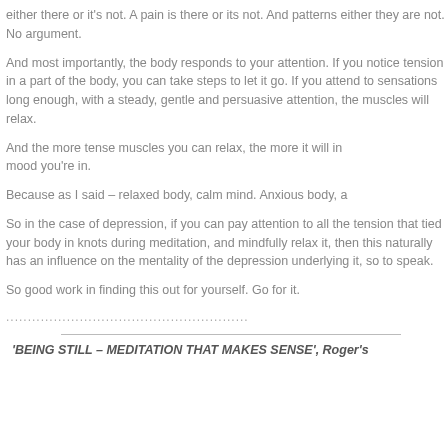either there or it's not. A pain is there or its not. And patterns either they are not. No argument.
And most importantly, the body responds to your attention. If you notice tension in a part of the body, you can take steps to let it go. If you attend to sensations long enough, with a steady, gentle and persuasive attention, the muscles will relax.
And the more tense muscles you can relax, the more it will influence the mood you're in.
Because as I said – relaxed body, calm mind. Anxious body, a
So in the case of depression, if you can pay attention to all the tension that tied your body in knots during meditation, and mindfully relax it, then this naturally has an influence on the mentality of the depression underlying it, so to speak.
So good work in finding this out for yourself. Go for it.
........................................................
'BEING STILL – MEDITATION THAT MAKES SENSE', Roger's